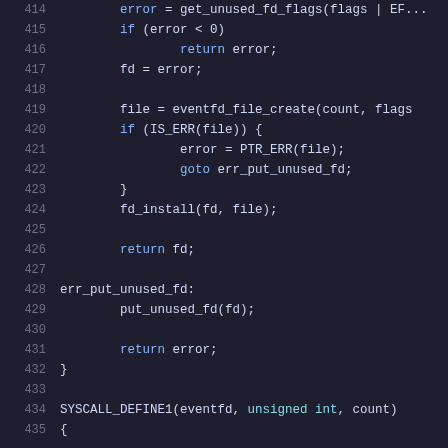[Figure (screenshot): Source code listing showing lines 414-435 of a C kernel source file. Lines include error checking, file descriptor installation, eventfd file creation, error handling with goto, and SYSCALL_DEFINE1 macro invocation. Syntax highlighting: blue for keywords (if, return, goto), cyan for types (unsigned int), and gray for line numbers on dark background.]